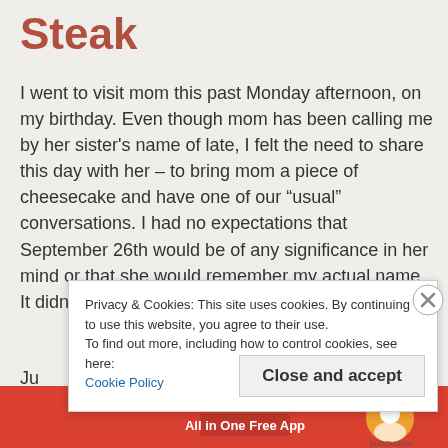Steak
I went to visit mom this past Monday afternoon, on my birthday. Even though mom has been calling me by her sister's name of late, I felt the need to share this day with her – to bring mom a piece of cheesecake and have one of our “usual” conversations. I had no expectations that September 26th would be of any significance in her mind or that she would remember my actual name. It didn’t matter. If mom would have Read more
Privacy & Cookies: This site uses cookies. By continuing to use this website, you agree to their use.
To find out more, including how to control cookies, see here:
Cookie Policy
Close and accept
[Figure (infographic): DuckDuckGo advertisement banner: orange/red background with text 'with more privacy. All in One Free App' and DuckDuckGo logo on right side]